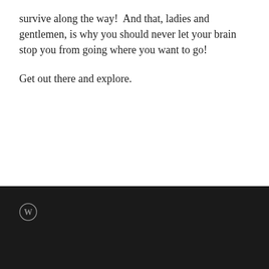survive along the way!  And that, ladies and gentlemen, is why you should never let your brain stop you from going where you want to go!
Get out there and explore.